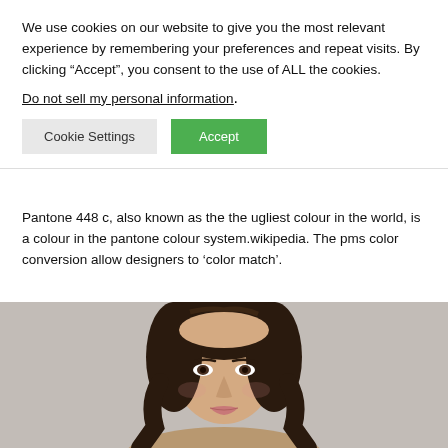We use cookies on our website to give you the most relevant experience by remembering your preferences and repeat visits. By clicking “Accept”, you consent to the use of ALL the cookies. Do not sell my personal information.
Cookie Settings | Accept
Pantone 448 c, also known as the the ugliest colour in the world, is a colour in the pantone colour system.wikipedia. The pms color conversion allow designers to ‘color match’.
[Figure (photo): Portrait photo of a young woman with long dark wavy hair against a light grey background, looking directly at the camera.]